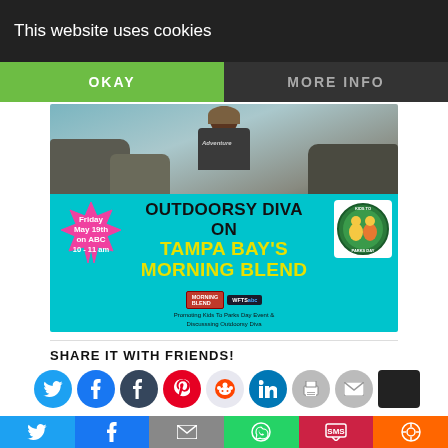This website uses cookies
OKAY
MORE INFO
[Figure (photo): Promotional graphic for Outdoorsy Diva appearing on Tampa Bay's Morning Blend on ABC. Features a woman in an 'Adventure' t-shirt at the top, teal background with black bold text reading 'OUTDOORSY DIVA ON' and yellow bold text 'TAMPA BAY'S MORNING BLEND'. Pink starburst badge reads 'Friday May 19th on ABC 10-11 am'. Kids To Parks Day logo on right. Bottom text: 'Promoting Kids To Parks Day Event & Discusssing Outdoorsy Diva']
SHARE IT WITH FRIENDS!
[Figure (infographic): Row of social media share icon buttons: Twitter (blue), Facebook (blue), Tumblr (dark), Pinterest (red), Reddit (light), LinkedIn (blue), Print (gray), Email (gray), and a dark button]